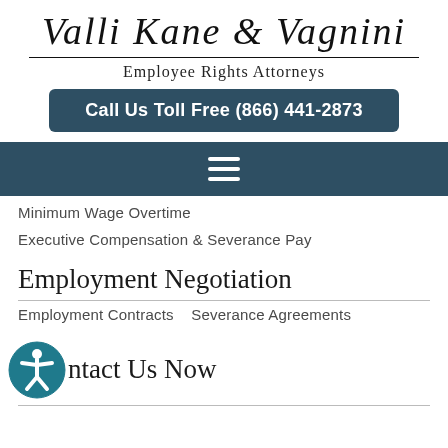Valli Kane & Vagnini
Employee Rights Attorneys
Call Us Toll Free (866) 441-2873
[Figure (other): Navigation hamburger menu icon (three horizontal white lines) on a dark navy background bar]
Minimum Wage Overtime
Executive Compensation & Severance Pay
Employment Negotiation
Employment Contracts   Severance Agreements
Contact Us Now
[Figure (illustration): Accessibility icon: a teal circle with a white person figure with arms and legs extended]